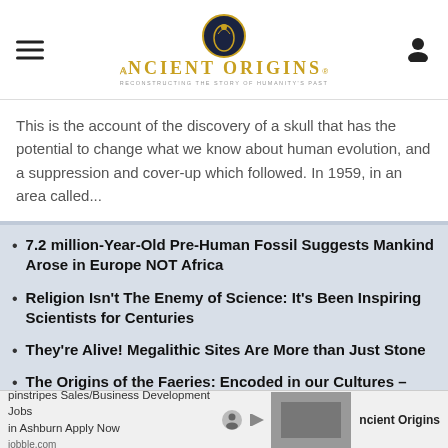Ancient Origins — Reconstructing the Story of Humanity's Past
This is the account of the discovery of a skull that has the potential to change what we know about human evolution, and a suppression and cover-up which followed. In 1959, in an area called...
7.2 million-Year-Old Pre-Human Fossil Suggests Mankind Arose in Europe NOT Africa
Religion Isn't The Enemy of Science: It's Been Inspiring Scientists for Centuries
They're Alive! Megalithic Sites Are More than Just Stone
The Origins of the Faeries: Encoded in our Cultures – Part I
pinstripes Sales/Business Development Jobs in Ashburn Apply Now | jobble.com | Ancient Origins